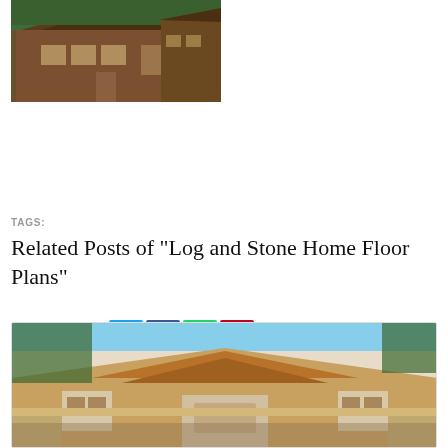[Figure (photo): Log and stone house exterior, large multi-story home with dark wood construction and green trees in background]
SHARE ON
TAGS:
Related Posts of "Log and Stone Home Floor Plans"
[Figure (photo): Single-story modern home with terracotta/brown tiled roof, stone accents, large windows, and trees surrounding it, blue sky background]